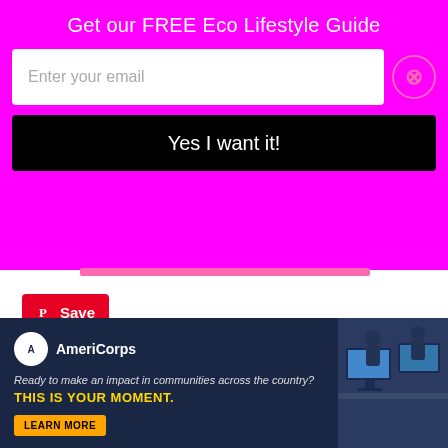Get our FREE Eco Lifestyle Guide
Enter your email
Yes I want it!
[Figure (screenshot): Pinterest Save button with red background and Pinterest logo icon]
About author
[Figure (screenshot): AmeriCorps advertisement banner: 'Ready to make an impact in communities across the country? THIS IS YOUR MOMENT.' with LEARN MORE button and image of people at computers]